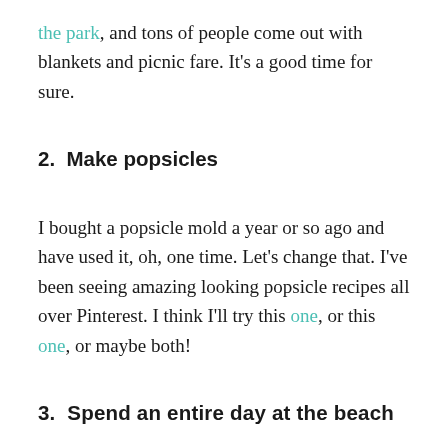the park, and tons of people come out with blankets and picnic fare. It's a good time for sure.
2. Make popsicles
I bought a popsicle mold a year or so ago and have used it, oh, one time. Let's change that. I've been seeing amazing looking popsicle recipes all over Pinterest. I think I'll try this one, or this one, or maybe both!
3. Spend an entire day at the beach
I've taken Sadie on several trips to the dog beach this year, but have yet to spend more than an hour there. Time to get my tan on (with SPF of course!).